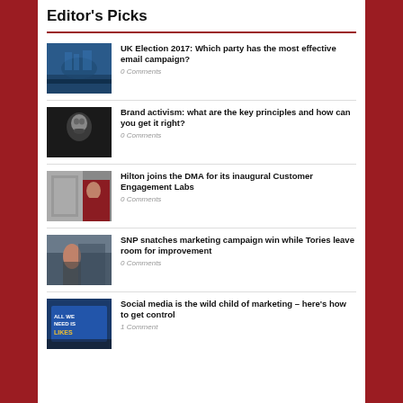Editor's Picks
UK Election 2017: Which party has the most effective email campaign? 0 Comments
Brand activism: what are the key principles and how can you get it right? 0 Comments
Hilton joins the DMA for its inaugural Customer Engagement Labs 0 Comments
SNP snatches marketing campaign win while Tories leave room for improvement 0 Comments
Social media is the wild child of marketing – here's how to get control 1 Comment